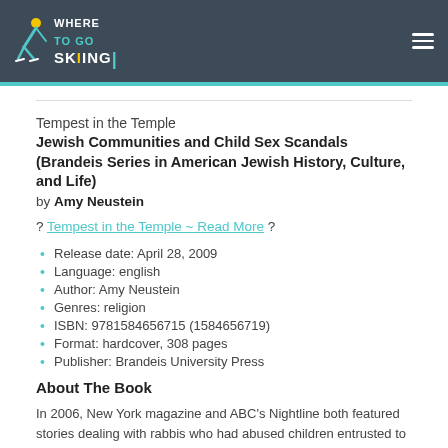WHERE TO GO SKIING
Tempest in the Temple
Jewish Communities and Child Sex Scandals (Brandeis Series in American Jewish History, Culture, and Life)
by Amy Neustein
? Tempest in the Temple ~ Read More ?
Release date: April 28, 2009
Language: english
Author: Amy Neustein
Genres: religion
ISBN: 9781584656715 (1584656719)
Format: hardcover, 308 pages
Publisher: Brandeis University Press
About The Book
In 2006, New York magazine and ABC's Nightline both featured stories dealing with rabbis who had abused children entrusted to them. Then, at the start of 2007, the Jewish Telegraphic Agency published a five-part series on sexual abuse by rabbis who led congregations, taught religious studies,